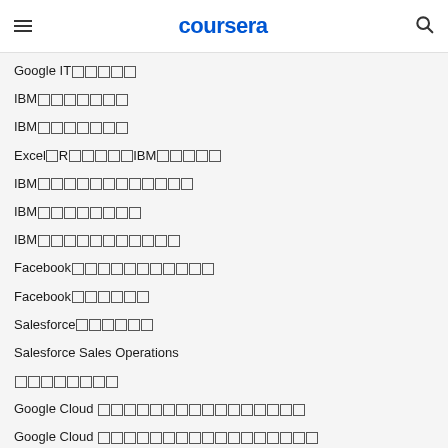coursera
Google IT専业证书
IBM数据科学专业证书
IBM网络安全专业证书
Excel和R语言的IBM数据分析
IBM全栈云开发专业证书
IBM数据工程师专业证书
IBM应用开发专业证书
Facebook社交媒体营销专业证书
Facebook营销分析专业证书
Salesforce销售专业证书
Salesforce Sales Operations
全球财务专业证书
Google Cloud 云架构师层级证书考试
Google Cloud 云开发人员层级证书考试
接近完成的认证